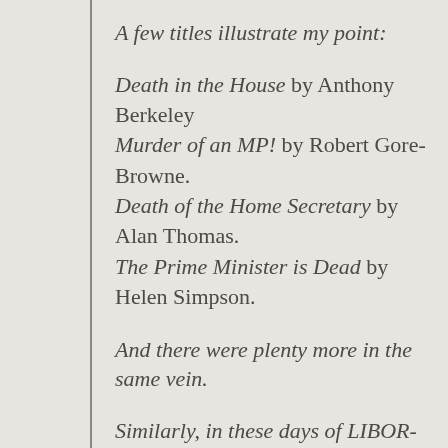A few titles illustrate my point:
Death in the House by Anthony Berkeley
Murder of an MP! by Robert Gore-Browne.
Death of the Home Secretary by Alan Thomas.
The Prime Minister is Dead by Helen Simpson.
And there were plenty more in the same vein.
Similarly, in these days of LIBOR-rigging, and the fiasco of the collapse